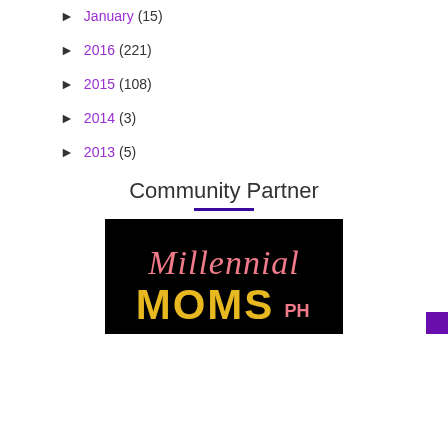► January (15)
► 2016 (221)
► 2015 (108)
► 2014 (3)
► 2013 (5)
Community Partner
[Figure (logo): Millennial Moms PH logo — pink cursive 'Millennial' text above gold bold 'MOMS' with 'PH' in pink, on a black background]